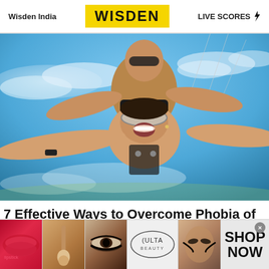Wisden India | WISDEN | LIVE SCORES
[Figure (photo): Two people skydiving in tandem against a blue sky with clouds. The person in front (a woman) has her mouth open in excitement, wearing clear goggles. The person behind (a man) wears dark sunglasses and a black harness vest.]
7 Effective Ways to Overcome Phobia of Heights
[Figure (photo): Advertisement banner showing makeup imagery: red lips, makeup brush, eyes with eyeliner, ULTA beauty logo, and a woman's face with dramatic eye makeup. Text reads SHOP NOW with a close button.]